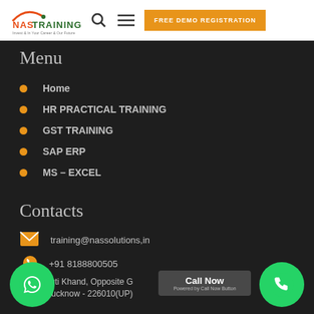NAS TRAINING | FREE DEMO REGISTRATION
Menu
Home
HR PRACTICAL TRAINING
GST TRAINING
SAP ERP
MS – EXCEL
Contacts
training@nassolutions,in
+91 8188800505
07, Vibhuti Khand, Opposite G Nagar, Lucknow - 226010(UP)